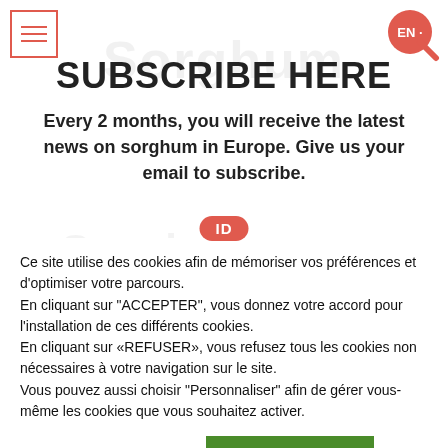☰ (navigation icon) | EN (language selector)
SUBSCRIBE HERE
Every 2 months, you will receive the latest news on sorghum in Europe. Give us your email to subscribe.
[Figure (other): ID badge label on a sorghum news watermark text]
Ce site utilise des cookies afin de mémoriser vos préférences et d'optimiser votre parcours. En cliquant sur "ACCEPTER", vous donnez votre accord pour l'installation de ces différents cookies. En cliquant sur «REFUSER», vous refusez tous les cookies non nécessaires à votre navigation sur le site. Vous pouvez aussi choisir "Personnaliser" afin de gérer vous-même les cookies que vous souhaitez activer.
Personnaliser | ACCEPTER